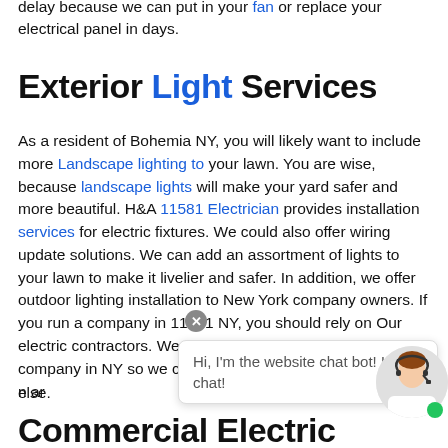delay because we can put in your fan or replace your electrical panel in days.
Exterior Light Services
As a resident of Bohemia NY, you will likely want to include more Landscape lighting to your lawn. You are wise, because landscape lights will make your yard safer and more beautiful. H&A 11581 Electrician provides installation services for electric fixtures. We could also offer wiring update solutions. We can add an assortment of lights to your lawn to make it livelier and safer. In addition, we offer outdoor lighting installation to New York company owners. If you run a company in 11581 NY, you should rely on Our electric contractors. We are the finest electrical contracting company in NY so we can add to our services and ar else.
Commercial Electric